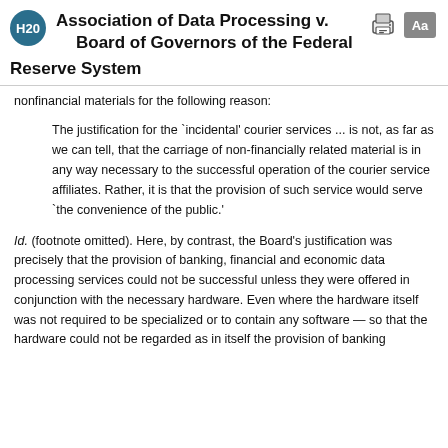Association of Data Processing v. Board of Governors of the Federal Reserve System
nonfinancial materials for the following reason:
The justification for the `incidental' courier services ... is not, as far as we can tell, that the carriage of non-financially related material is in any way necessary to the successful operation of the courier service affiliates. Rather, it is that the provision of such service would serve `the convenience of the public.'
Id. (footnote omitted). Here, by contrast, the Board's justification was precisely that the provision of banking, financial and economic data processing services could not be successful unless they were offered in conjunction with the necessary hardware. Even where the hardware itself was not required to be specialized or to contain any software — so that the hardware could not be regarded as in itself the provision of banking